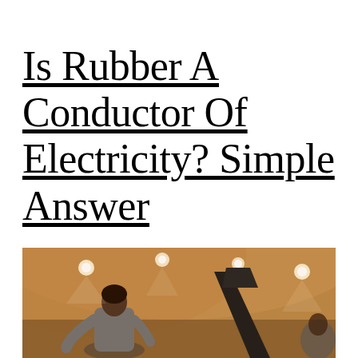Is Rubber A Conductor Of Electricity? Simple Answer
[Figure (photo): A person in a gray t-shirt leaning forward in what appears to be an auditorium or concert hall with warm brown curved walls and ceiling with recessed spotlights. A dark angular object (possibly a music stand or instrument) is visible in the right portion of the image.]